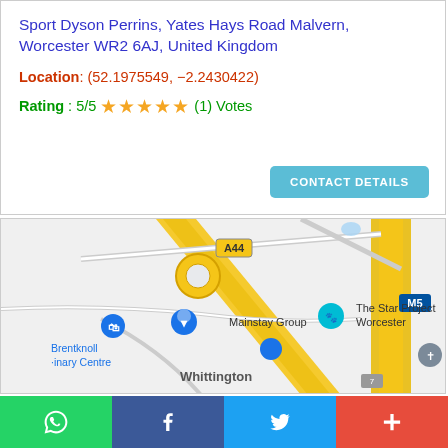Sport Dyson Perrins, Yates Hays Road Malvern, Worcester WR2 6AJ, United Kingdom
Location: (52.1975549, -2.2430422)
Rating: 5/5 ★★★★★ (1) Votes
[Figure (map): Google Maps view showing Whittington area in Worcester with road A44, M5 motorway, Mainstay Group, The Star Project Worcester, Brentknoll Veterinary Centre, and St. Philip & St. James Parish Church markers visible.]
WhatsApp | Facebook | Twitter | Plus